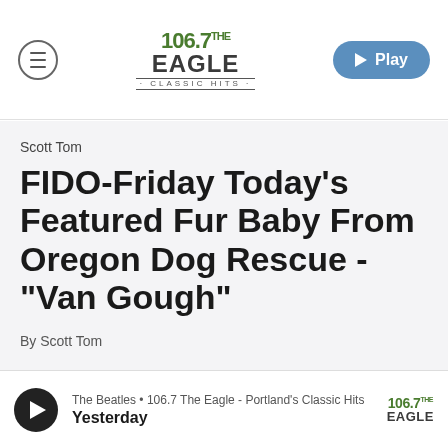[Figure (logo): 106.7 The Eagle Classic Hits radio station logo centered in navigation bar]
Scott Tom
FIDO-Friday Today's Featured Fur Baby From Oregon Dog Rescue -"Van Gough"
By Scott Tom
The Beatles • 106.7 The Eagle - Portland's Classic Hits | Yesterday